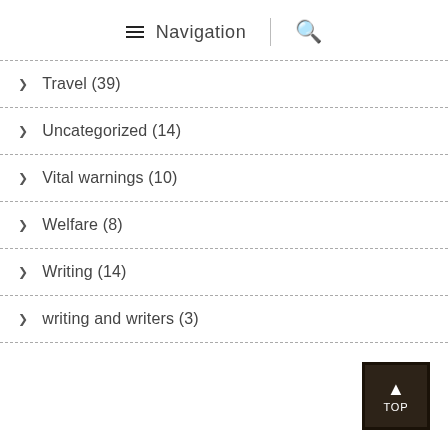≡ Navigation | 🔍
> Travel (39)
> Uncategorized (14)
> Vital warnings (10)
> Welfare (8)
> Writing (14)
> writing and writers (3)